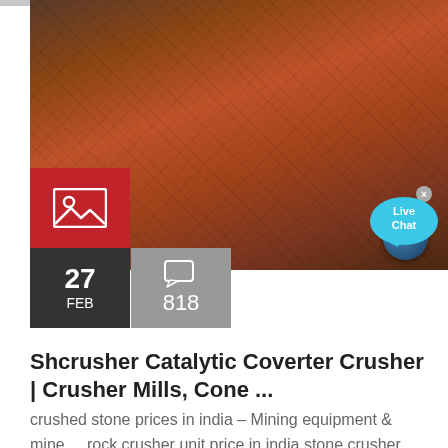[Figure (photo): Large red/orange industrial rock crusher machine on a trailer, photographed outdoors. A blue motor is visible on the right side. Red image-placeholder icon box overlaid on lower-left of the photo.]
27
FEB
818
Shcrusher Catalytic Coverter Crusher | Crusher Mills, Cone ...
crushed stone prices in india – Mining equipment & mine ... rock crusher unit price in india,stone crusher unit for sale. Crushed stone is segregated into numerous ... cone crusher torque speed